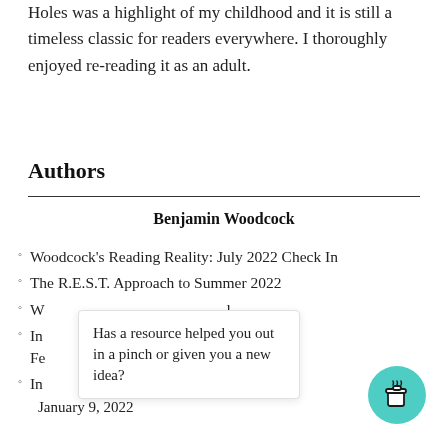Holes was a highlight of my childhood and it is still a timeless classic for readers everywhere. I thoroughly enjoyed re-reading it as an adult.
Authors
Benjamin Woodcock
Woodcock's Reading Reality: July 2022 Check In
The R.E.S.T. Approach to Summer 2022
W [truncated]
In [truncated] ow – Fe [truncated]
In [truncated] npi [truncated]
January 9, 2022
Has a resource helped you out in a pinch or given you a new idea?